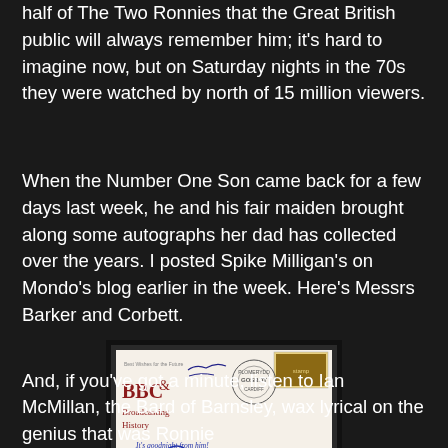half of The Two Ronnies that the Great British public will always remember him; it's hard to imagine now, but on Saturday nights in the 70s they were watched by north of 15 million viewers.
When the Number One Son came back for a few days last week, he and his fair maiden brought along some autographs her dad has collected over the years. I posted Spike Milligan's on Mondo's blog earlier in the week. Here's Messrs Barker and Corbett.
[Figure (photo): A signed BBC Broadcasting History commemorative envelope/cover with autographs of Ronnie Barker and Ronnie Corbett. The envelope shows BBC & Broadcasting History logo in dark red, a postmark from Cardiff, stamps, and two signatures in blue ink. One signature reads 'It's goodnight from him!' with Ronnie Barker's signature.]
And, if you've got a minute, listen to Ian McMillan, the Bard of Barnsley, wax lyrical on the genius that was Ronnie Barker.